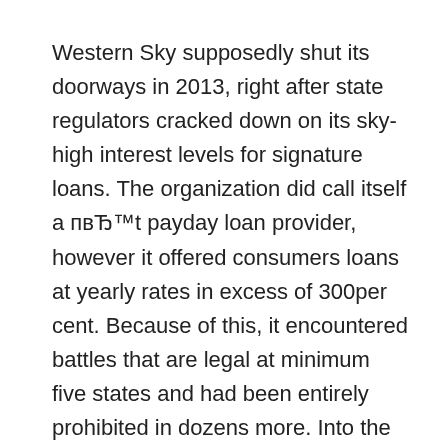Western Sky supposedly shut its doorways in 2013, right after state regulators cracked down on its sky-high interest levels for signature loans. The organization did call itself a пвЂ™t payday loan provider, however it offered consumers loans at yearly rates in excess of 300per cent. Because of this, it encountered battles that are legal at minimum five states and had been entirely prohibited in dozens more. Into the summer time of 2015, Western Sky was at the news headlines once again since it had been obligated to refund consumers huge amount of money through appropriate settlements.
But its web site is functional and seems to be soliciting